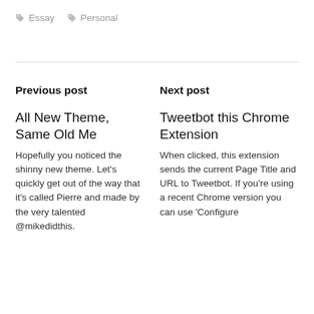Essay
Personal
Previous post
All New Theme, Same Old Me
Hopefully you noticed the shinny new theme. Let's quickly get out of the way that it's called Pierre and made by the very talented @mikedidthis.
Next post
Tweetbot this Chrome Extension
When clicked, this extension sends the current Page Title and URL to Tweetbot. If you're using a recent Chrome version you can use 'Configure